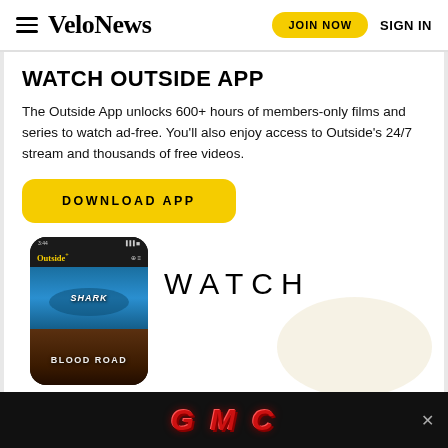VeloNews | JOIN NOW | SIGN IN
WATCH OUTSIDE APP
The Outside App unlocks 600+ hours of members-only films and series to watch ad-free. You'll also enjoy access to Outside's 24/7 stream and thousands of free videos.
DOWNLOAD APP
[Figure (screenshot): Outside+ app screenshot on a smartphone showing shark documentary and Blood Road film thumbnails, alongside large WATCH text and a circular decorative element]
[Figure (logo): GMC logo advertisement banner on black background with red metallic italic lettering]